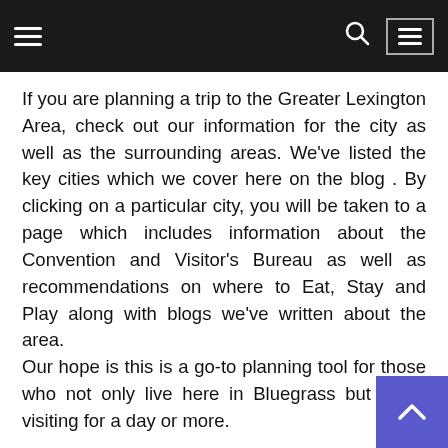Navigation bar with hamburger menu, search icon, and menu button
If you are planning a trip to the Greater Lexington Area, check out our information for the city as well as the surrounding areas. We've listed the key cities which we cover here on the blog . By clicking on a particular city, you will be taken to a page which includes information about the Convention and Visitor's Bureau as well as recommendations on where to Eat, Stay and Play along with blogs we've written about the area.
Our hope is this is a go-to planning tool for those who not only live here in Bluegrass but those visiting for a day or more.